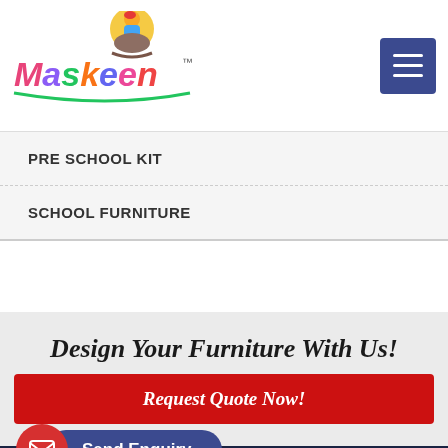[Figure (logo): Maskeen brand logo with colorful letters and a child character on rocking horse, with TM mark]
PRE SCHOOL KIT
SCHOOL FURNITURE
Design Your Furniture With Us!
Request Quote Now!
Send Enquiry
I
Home